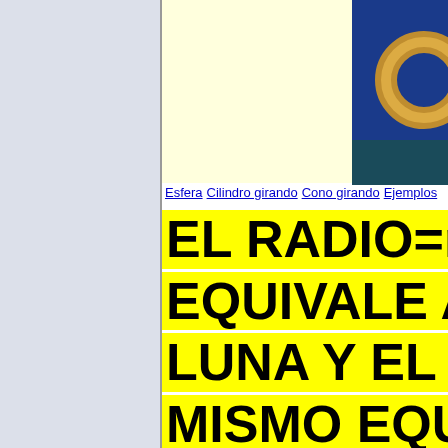[Figure (illustration): Light yellow background area in the top section of the main content]
[Figure (photo): 3D rendered golden torus/ring shape on blue background, partially visible at top right]
Esfera Cilindro girando Cono girando Ejemplos
EL RADIO=r EQUIVALE A LUNA Y EL R MISMO EQUI DE LA TIERR